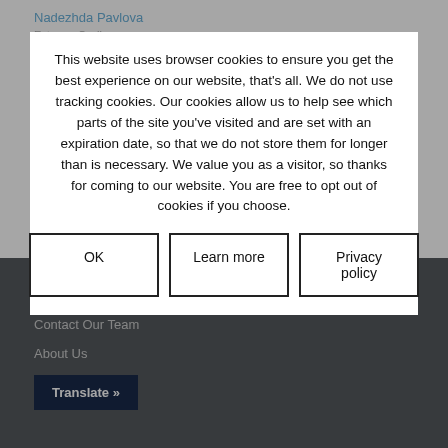Nadezhda Pavlova
RXM Custom Shoes
Elite Cycling Italy
Reddo
Presca Sportswear
CONTACT US
Contact Our Team
About Us
Translate »
This website uses browser cookies to ensure you get the best experience on our website, that's all. We do not use tracking cookies. Our cookies allow us to help see which parts of the site you've visited and are set with an expiration date, so that we do not store them for longer than is necessary. We value you as a visitor, so thanks for coming to our website. You are free to opt out of cookies if you choose.
OK
Learn more
Privacy policy